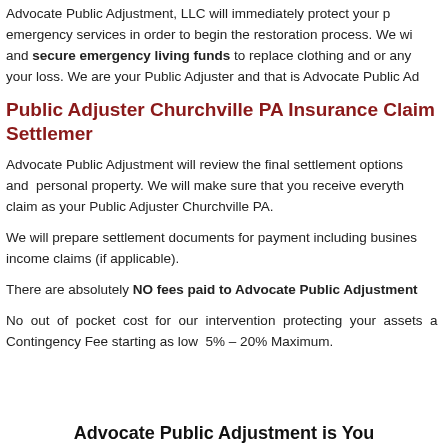Advocate Public Adjustment, LLC will immediately protect your property, emergency services in order to begin the restoration process. We will and secure emergency living funds to replace clothing and or any your loss. We are your Public Adjuster and that is Advocate Public Adjustment.
Public Adjuster Churchville PA Insurance Claim Settlement
Advocate Public Adjustment will review the final settlement options and personal property. We will make sure that you receive everything claim as your Public Adjuster Churchville PA.
We will prepare settlement documents for payment including business income claims (if applicable).
There are absolutely NO fees paid to Advocate Public Adjustment
No out of pocket cost for our intervention protecting your assets as Contingency Fee starting as low 5% – 20% Maximum.
Advocate Public Adjustment is You